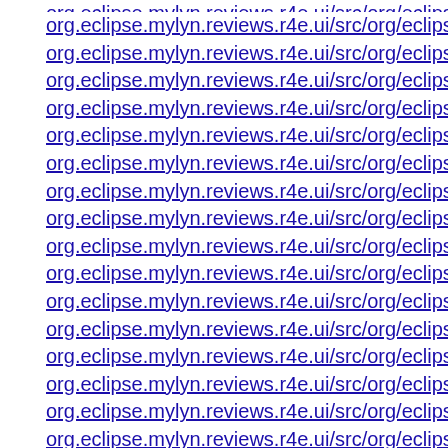org.eclipse.mylyn.reviews.r4e.ui/src/org/eclipse/mylyn/reviews/r4e/
org.eclipse.mylyn.reviews.r4e.ui/src/org/eclipse/mylyn/reviews/r4e/
org.eclipse.mylyn.reviews.r4e.ui/src/org/eclipse/mylyn/reviews/r4e/
org.eclipse.mylyn.reviews.r4e.ui/src/org/eclipse/mylyn/reviews/r4e/
org.eclipse.mylyn.reviews.r4e.ui/src/org/eclipse/mylyn/reviews/r4e/
org.eclipse.mylyn.reviews.r4e.ui/src/org/eclipse/mylyn/reviews/r4e/
org.eclipse.mylyn.reviews.r4e.ui/src/org/eclipse/mylyn/reviews/r4e/
org.eclipse.mylyn.reviews.r4e.ui/src/org/eclipse/mylyn/reviews/r4e/
org.eclipse.mylyn.reviews.r4e.ui/src/org/eclipse/mylyn/reviews/r4e/
org.eclipse.mylyn.reviews.r4e.ui/src/org/eclipse/mylyn/reviews/r4e/
org.eclipse.mylyn.reviews.r4e.ui/src/org/eclipse/mylyn/reviews/r4e/
org.eclipse.mylyn.reviews.r4e.ui/src/org/eclipse/mylyn/reviews/r4e/
org.eclipse.mylyn.reviews.r4e.ui/src/org/eclipse/mylyn/reviews/r4e/
org.eclipse.mylyn.reviews.r4e.ui/src/org/eclipse/mylyn/reviews/r4e/
org.eclipse.mylyn.reviews.r4e.ui/src/org/eclipse/mylyn/reviews/r4e/
org.eclipse.mylyn.reviews.r4e.ui/src/org/eclipse/mylyn/reviews/r4e/
org.eclipse.mylyn.reviews.r4e.ui/src/org/eclipse/mylyn/reviews/r4e/
org.eclipse.mylyn.reviews.r4e.ui/src/org/eclipse/mylyn/reviews/r4e/
org.eclipse.mylyn.reviews.r4e.ui/src/org/eclipse/mylyn/reviews/r4e/
org.eclipse.mylyn.reviews.r4e.ui/src/org/eclipse/mylyn/reviews/r4e/